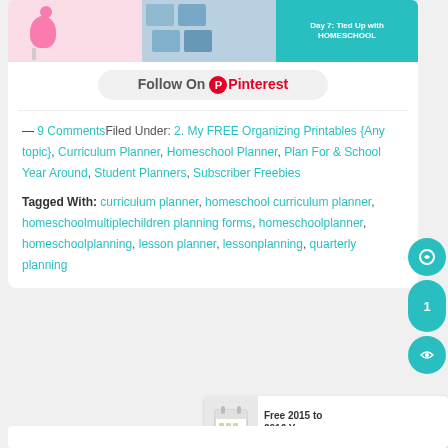[Figure (screenshot): Pinterest image strip showing flamingo toy, photo cards, and Day 7: Tied Up with HOMESCHOOL teal banner]
Follow On Pinterest
— 9 Comments Filed Under: 2. My FREE Organizing Printables {Any topic}, Curriculum Planner, Homeschool Planner, Plan For & School Year Around, Student Planners, Subscriber Freebies
Tagged With: curriculum planner, homeschool curriculum planner, homeschoolmultiplechildren planning forms, homeschoolplanner, homeschoolplanning, lesson planner, lessonplanning, quarterly planning
[Figure (screenshot): Next post thumbnail: Free 2015 to 2016 Year... with calendar icon]